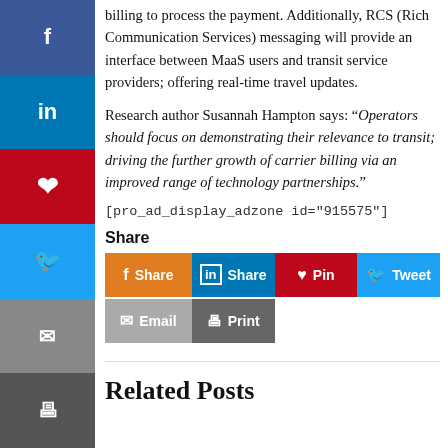billing to process the payment. Additionally, RCS (Rich Communication Services) messaging will provide an interface between MaaS users and transit service providers; offering real-time travel updates.
Research author Susannah Hampton says: “Operators should focus on demonstrating their relevance to transit; driving the further growth of carrier billing via an improved range of technology partnerships.”
[pro_ad_display_adzone id="915575"]
Share
[Figure (infographic): Social share buttons: Facebook Share, LinkedIn Share, Pinterest Pin, Twitter Tweet, Email, Print]
Related Posts